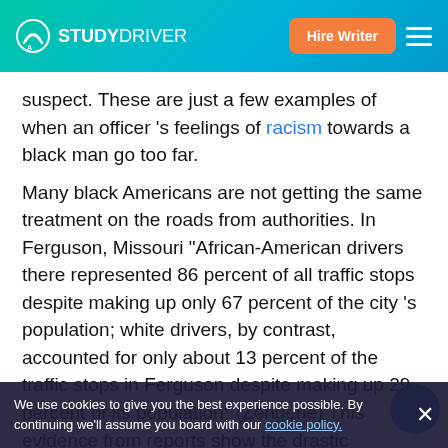STUDYDRIVER — Hire Writer
suspect. These are just a few examples of when an officer 's feelings of racism towards a black man go too far.
Many black Americans are not getting the same treatment on the roads from authorities. In Ferguson, Missouri “African-American drivers there represented 86 percent of all traffic stops despite making up only 67 percent of the city 's population; white drivers, by contrast, accounted for only about 13 percent of the traffic stops in Ferguson despite making up 29 percent of its population” (Zengerle) This evidence from reports show the drastic differences between traffic stops of blacks and whites. This isn 't just happening in Missouri, It 's also happening in Connecticut, Of the total 620,000 traffic stops in Connecticut, 13.5 percent of the drivers were black, 11.7 percent were Hispanic (Weizel). These percentages display how the authorities have stopped blacks at...
We use cookies to give you the best experience possible. By continuing we’ll assume you board with our cookie policy.